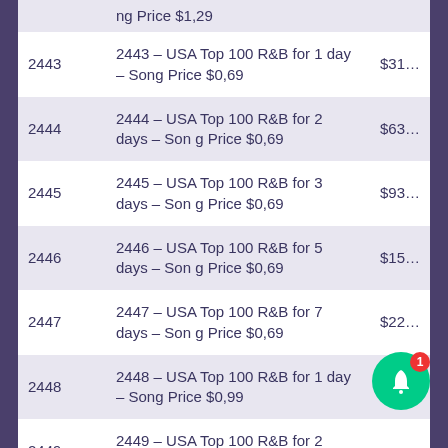| ID | Description | Price |
| --- | --- | --- |
|  | ng Price $1,29 |  |
| 2443 | 2443 – USA Top 100 R&B for 1 day – Song Price $0,69 | $31… |
| 2444 | 2444 – USA Top 100 R&B for 2 days – Song Price $0,69 | $63… |
| 2445 | 2445 – USA Top 100 R&B for 3 days – Song Price $0,69 | $93… |
| 2446 | 2446 – USA Top 100 R&B for 5 days – Song Price $0,69 | $15… |
| 2447 | 2447 – USA Top 100 R&B for 7 days – Song Price $0,69 | $22… |
| 2448 | 2448 – USA Top 100 R&B for 1 day – Song Price $0,99 | $48… |
| 2449 | 2449 – USA Top 100 R&B for 2 days – Song Price $0,99 | … |
|  | 2450 – USA Top 100 R&B for 3 days – S… |  |